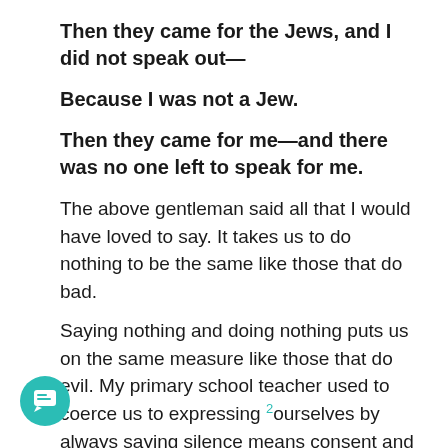Then they came for the Jews, and I did not speak out—
Because I was not a Jew.
Then they came for me—and there was no one left to speak for me.
The above gentleman said all that I would have loved to say. It takes us to do nothing to be the same like those that do bad.
Saying nothing and doing nothing puts us on the same measure like those that do evil. My primary school teacher used to coerce us to expressing 2ourselves by always saying silence means consent and I find myself grateful to her for inculcating a spirit of speaking out in us.